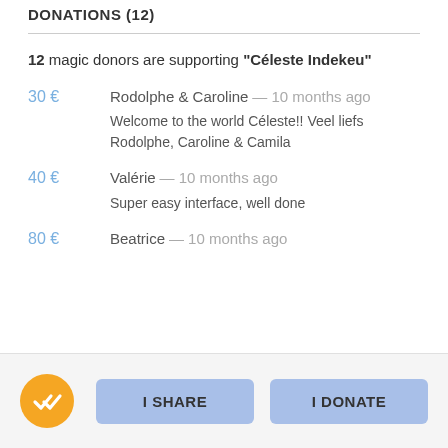DONATIONS (12)
12 magic donors are supporting "Céleste Indekeu"
30 € — Rodolphe & Caroline — 10 months ago — Welcome to the world Céleste!! Veel liefs Rodolphe, Caroline & Camila
40 € — Valérie — 10 months ago — Super easy interface, well done
80 € — Beatrice — 10 months ago